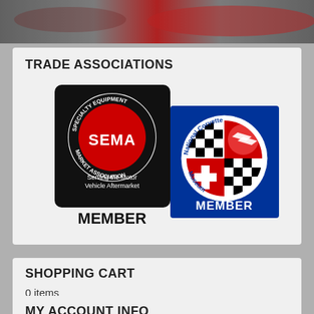[Figure (photo): Top banner with blurred red car image background]
TRADE ASSOCIATIONS
[Figure (logo): SEMA Specialty Equipment Market Association Member badge logo — black background with red circular SEMA logo, text 'Serving the Motor Vehicle Aftermarket' and 'MEMBER' in bold]
[Figure (logo): National Corvette Museum Member badge — blue background with circular logo containing checkered and red quadrant design]
SHOPPING CART
0 items
MY ACCOUNT INFO